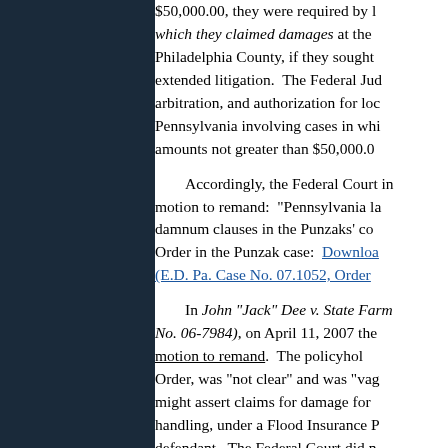$50,000.00, they were required by law... which they claimed damages at the Philadelphia County, if they sought extended litigation. The Federal Jud... arbitration, and authorization for loc... Pennsylvania involving cases in whi... amounts not greater than $50,000.0...
Accordingly, the Federal Court in... motion to remand: "Pennsylvania la... damnum clauses in the Punzaks' co... Order in the Punzak case: Download... (E.D. Pa. Case No. 07.1052, Order...
In John "Jack" Dee v. State Farm (No. 06-7984), on April 11, 2007 the motion to remand. The policyholder... Order, was "not clear" and was "vag... might assert claims for damage for ... handling, under a Flood Insurance P... defendant. The Federal Court did n... Bad Faith and "penalties" asserted i...